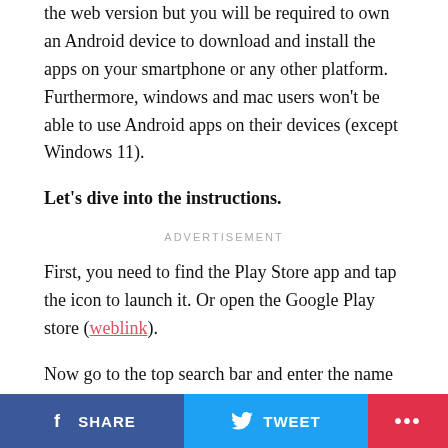the web version but you will be required to own an Android device to download and install the apps on your smartphone or any other platform. Furthermore, windows and mac users won't be able to use Android apps on their devices (except Windows 11).
Let's dive into the instructions.
ADVERTISEMENT
First, you need to find the Play Store app and tap the icon to launch it. Or open the Google Play store (weblink).
Now go to the top search bar and enter the name of the app or game or the content you want to search on the Play Store.
SHARE   TWEET   ...